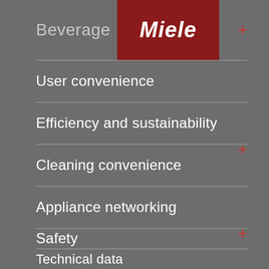Beverages
[Figure (logo): Miele brand logo — white italic bold text on dark red background]
User convenience
Efficiency and sustainability
Cleaning convenience
Appliance networking
Safety
Technical data